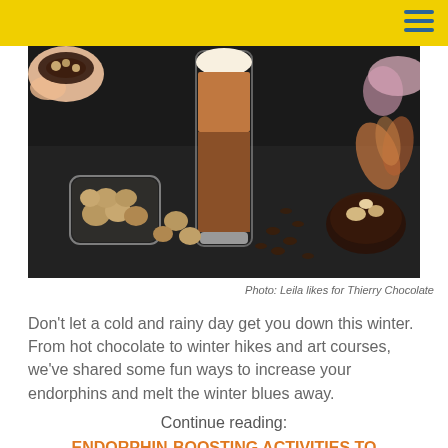[Figure (photo): Dark background food photography showing a tall glass of hot chocolate with whipped cream, a jar of walnuts spilled on the surface, chocolate bon-bons with nuts, chocolate chips, and a hand holding a chocolate treat. Pink flower visible in the background.]
Photo: Leila likes for Thierry Chocolate
Don't let a cold and rainy day get you down this winter. From hot chocolate to winter hikes and art courses, we've shared some fun ways to increase your endorphins and melt the winter blues away.
Continue reading:
ENDORPHIN-BOOSTING ACTIVITIES TO BEAT THE WINTER BLUES